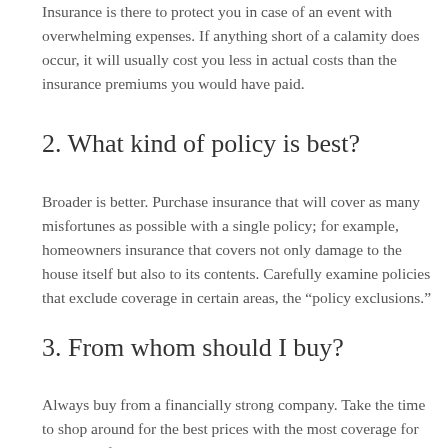Insurance is there to protect you in case of an event with overwhelming expenses. If anything short of a calamity does occur, it will usually cost you less in actual costs than the insurance premiums you would have paid.
2. What kind of policy is best?
Broader is better. Purchase insurance that will cover as many misfortunes as possible with a single policy; for example, homeowners insurance that covers not only damage to the house itself but also to its contents. Carefully examine policies that exclude coverage in certain areas, the “policy exclusions.”
3. From whom should I buy?
Always buy from a financially strong company. Take the time to shop around for the best prices with the most coverage for your specific situation. You may be able to save money by buying multiple policies